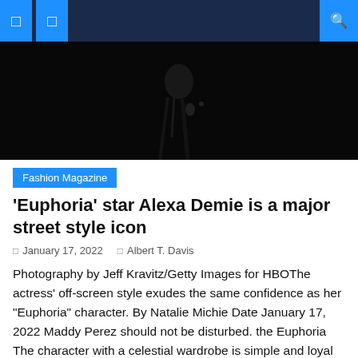Navigation header with menu and search icons
[Figure (photo): Dark moody photo, mostly black background with faint figure/clothing details visible, appears to be a fashion editorial shot]
Fashion Magazine
'Euphoria' star Alexa Demie is a major street style icon
January 17, 2022   Albert T. Davis
Photography by Jeff Kravitz/Getty Images for HBOThe actress' off-screen style exudes the same confidence as her "Euphoria" character. By Natalie Michie Date January 17, 2022 Maddy Perez should not be disturbed. the Euphoria The character with a celestial wardrobe is simple and loyal you don't want to put yourself on the wrong side. Perez [...]